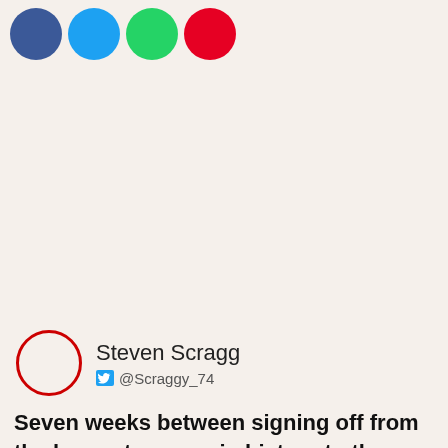[Figure (illustration): Four social media share buttons (circles): Facebook (dark blue), Twitter (light blue), WhatsApp (green), Pinterest (red)]
[Figure (illustration): Author avatar circle outline in red with author info: Steven Scragg, Twitter handle @Scraggy_74]
Seven weeks between signing off from the longest season in history to the beginning of the latest starting one ever. A condensed 'summer'